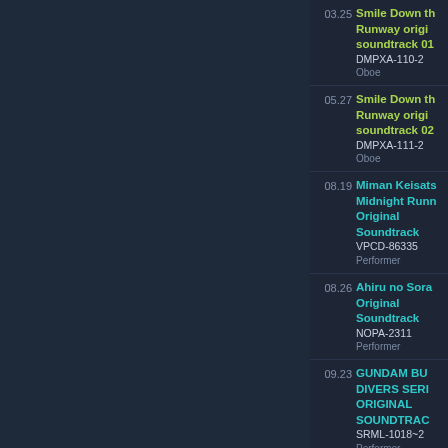03.25 Smile Down the Runway original soundtrack 01 DMPXA-110-2 Oboe
05.27 Smile Down the Runway original soundtrack 02 DMPXA-111-2 Oboe
08.19 Miman Keisatsu Midnight Runner Original Soundtrack VPCD-86335 Performer
08.26 Ahiru no Sora Original Soundtrack NOPA-2311 Performer
09.23 GUNDAM BUILD DIVERS SERIES ORIGINAL SOUNDTRACK SRML-1018~2 Performer
12.09 Kono Koi Atarashii...